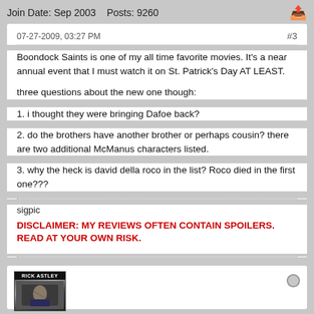Join Date: Sep 2003    Posts: 9260
07-27-2009, 03:27 PM    #3
Boondock Saints is one of my all time favorite movies. It's a near annual event that I must watch it on St. Patrick's Day AT LEAST.
three questions about the new one though:
1. i thought they were bringing Dafoe back?
2. do the brothers have another brother or perhaps cousin? there are two additional McManus characters listed.
3. why the heck is david della roco in the list? Roco died in the first one???
sigpic
DISCLAIMER: MY REVIEWS OFTEN CONTAIN SPOILERS. READ AT YOUR OWN RISK.
[Figure (photo): Rick Astley album cover thumbnail at the bottom of the page]